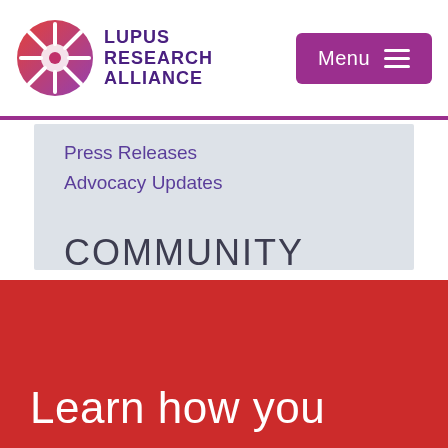[Figure (logo): Lupus Research Alliance logo: circular icon with gradient red-purple segments and white connectors, next to bold text LUPUS RESEARCH ALLIANCE in purple]
Menu
Press Releases
Advocacy Updates
COMMUNITY
Community Inspirations
Learn how you